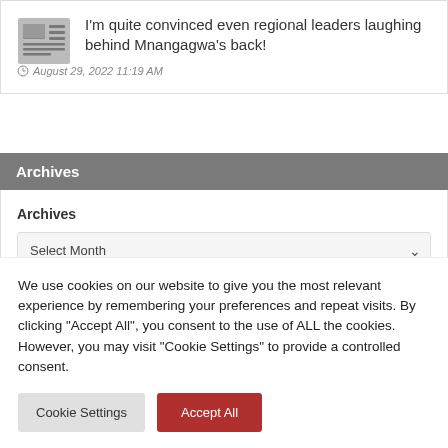I'm quite convinced even regional leaders laughing behind Mnangagwa's back!
August 29, 2022 11:19 AM
Archives
Archives
Select Month
We use cookies on our website to give you the most relevant experience by remembering your preferences and repeat visits. By clicking "Accept All", you consent to the use of ALL the cookies. However, you may visit "Cookie Settings" to provide a controlled consent.
Cookie Settings
Accept All